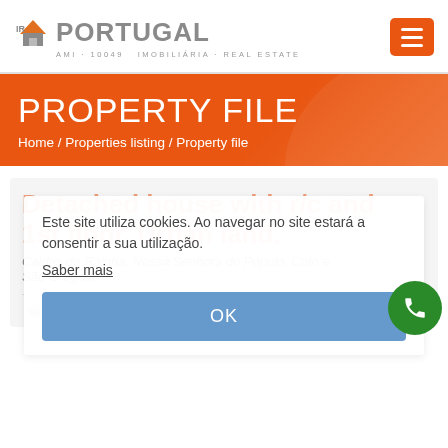[Figure (logo): IR Portugal Imobiliária Real Estate logo with house icon]
PROPERTY FILE
Home / Properties listing / Property file
Detached house with r/c and 1st floor. Urban land.
Caldas da Rainha, Nossa Senhora do Pópulo, Coto e São Gregório
Este site utiliza cookies. Ao navegar no site estará a consensentir a sua utilização.
Saber mais
OK
House  3  2  283 m²